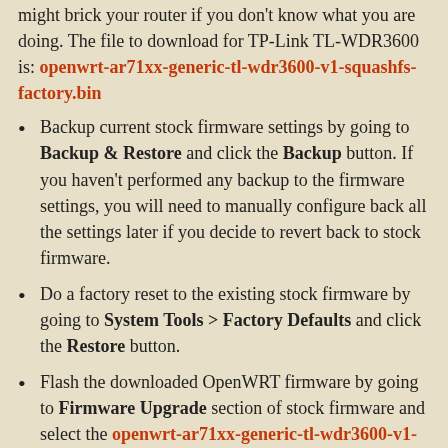might brick your router if you don't know what you are doing. The file to download for TP-Link TL-WDR3600 is: openwrt-ar71xx-generic-tl-wdr3600-v1-squashfs-factory.bin
Backup current stock firmware settings by going to Backup & Restore and click the Backup button. If you haven't performed any backup to the firmware settings, you will need to manually configure back all the settings later if you decide to revert back to stock firmware.
Do a factory reset to the existing stock firmware by going to System Tools > Factory Defaults and click the Restore button.
Flash the downloaded OpenWRT firmware by going to Firmware Upgrade section of stock firmware and select the openwrt-ar71xx-generic-tl-wdr3600-v1-squashfs-factory.bin file just downloaded.
When the firmware is successfully converted to OpenWRT, you can access its LuCI web